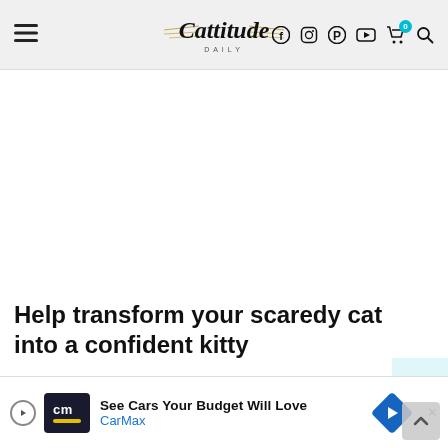Cattitude Daily — navigation bar with hamburger menu, logo, and social icons (Facebook, Instagram, Pinterest, YouTube, cart, search)
[Figure (screenshot): White empty advertisement/content area below the navigation bar]
Help transform your scaredy cat into a confident kitty
My small ginger cat Tom is naturally incredibly skittish. He is not a cat that... him February... und
[Figure (screenshot): CarMax advertisement banner: 'See Cars Your Budget Will Love' with CarMax logo and navigation arrow icon, with a close X button]